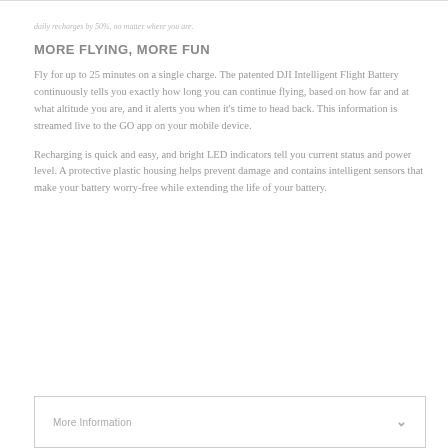daily recharges by 50%, no matter where you are.
MORE FLYING, MORE FUN
Fly for up to 25 minutes on a single charge. The patented DJI Intelligent Flight Battery continuously tells you exactly how long you can continue flying, based on how far and at what altitude you are, and it alerts you when it's time to head back. This information is streamed live to the GO app on your mobile device.
Recharging is quick and easy, and bright LED indicators tell you current status and power level. A protective plastic housing helps prevent damage and contains intelligent sensors that make your battery worry-free while extending the life of your battery.
More Information